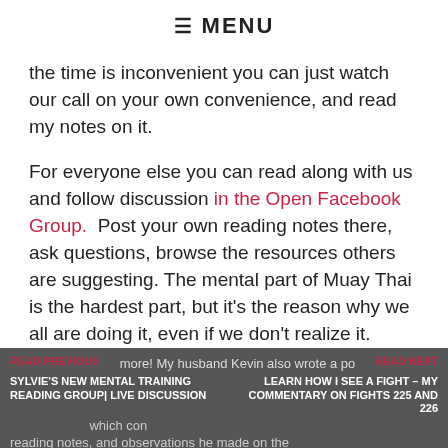☰ MENU
the time is inconvenient you can just watch our call on your own convenience, and read my notes on it.
For everyone else you can read along with us and follow discussion in the Open Facebook Group.  Post your own reading notes there, ask questions, browse the resources others are suggesting. The mental part of Muay Thai is the hardest part, but it's the reason why we all are doing it, even if we don't realize it.
Kevin's Post on Our First Session
READ PREVIOUS | [text] | READ NEXT
SYLVIE'S NEW MENTAL TRAINING READING GROUP| LIVE DISCUSSION | LEARN HOW I SEE A FIGHT – MY COMMENTARY ON FIGHTS 225 AND 226
more! My husband Kevin also wrote a po[st] which con[tains his] reading notes, and observations he made on the first chapter of The Inner Game of Tennis. You